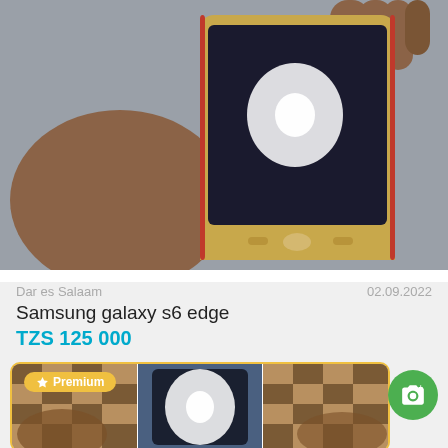[Figure (photo): Hand holding a Samsung Galaxy S6 Edge smartphone with a cracked/scratched screen, gold and red case, photographed against a grey background.]
Dar es Salaam    02.09.2022
Samsung galaxy s6 edge
TZS 125 000
[Figure (photo): Premium listing card with yellow border showing three photos of a smartphone. A yellow Premium badge with star icon is overlaid in the top-left. A green camera FAB button is visible at the right edge.]